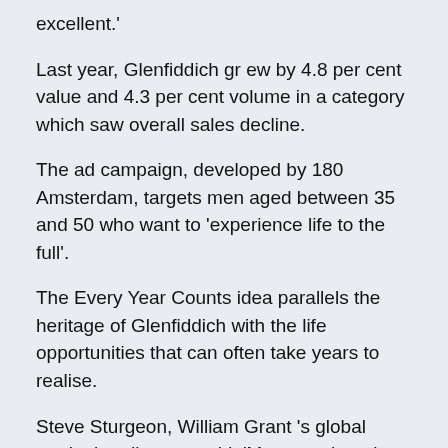excellent.'
Last year, Glenfiddich grew by 4.8 per cent value and 4.3 per cent volume in a category which saw overall sales decline.
The ad campaign, developed by 180 Amsterdam, targets men aged between 35 and 50 who want to 'experience life to the full'.
The Every Year Counts idea parallels the heritage of Glenfiddich with the life opportunities that can often take years to realise.
Steve Sturgeon, William Grant 's global marketing director, said: 'Men are changing and the brand location needs to change with them.'
The packaging, which was last updated in 2000, has been designed to feature continuity across the 12, 15